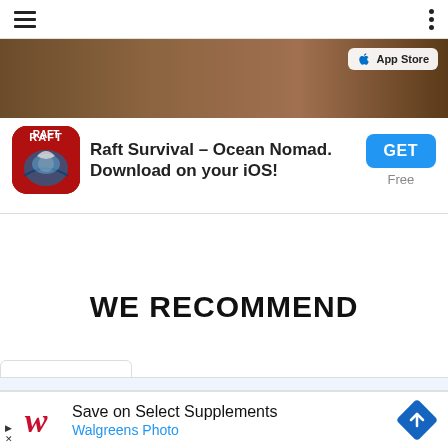Navigation bar with hamburger menu and options dots
[Figure (screenshot): App Store advertisement for Raft Survival – Ocean Nomad iOS app with background image, app icon, GET button, and Free label]
WE RECOMMEND
[Figure (screenshot): Dropdown chevron tab with light blue background strip]
[Figure (screenshot): Walgreens ad: Save on Select Supplements, Walgreens Photo, with navigation diamond icon]